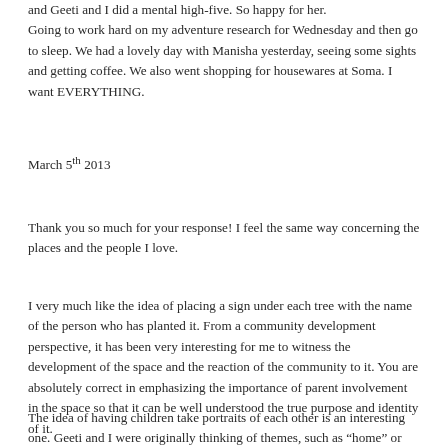and Geeti and I did a mental high-five. So happy for her. Going to work hard on my adventure research for Wednesday and then go to sleep. We had a lovely day with Manisha yesterday, seeing some sights and getting coffee. We also went shopping for housewares at Soma. I want EVERYTHING.
March 5th 2013
Thank you so much for your response! I feel the same way concerning the places and the people I love.
I very much like the idea of placing a sign under each tree with the name of the person who has planted it. From a community development perspective, it has been very interesting for me to witness the development of the space and the reaction of the community to it. You are absolutely correct in emphasizing the importance of parent involvement in the space so that it can be well understood the true purpose and identity of it.
The idea of having children take portraits of each other is an interesting one. Geeti and I were originally thinking of themes, such as “home” or “friendship” or “nature” and we can absolutely include portraits in that